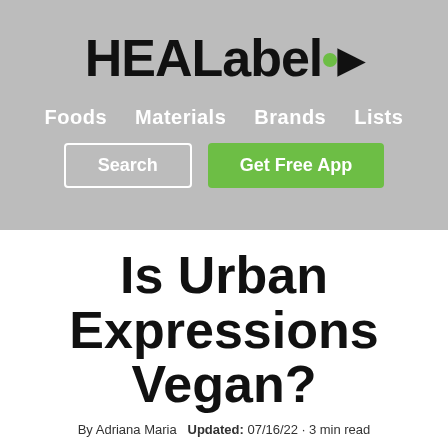[Figure (logo): HEALabel logo with green dot and arrow/chevron mark]
Foods   Materials   Brands   Lists
Search   Get Free App
Is Urban Expressions Vegan?
By Adriana Maria   Updated: 07/16/22 · 3 min read